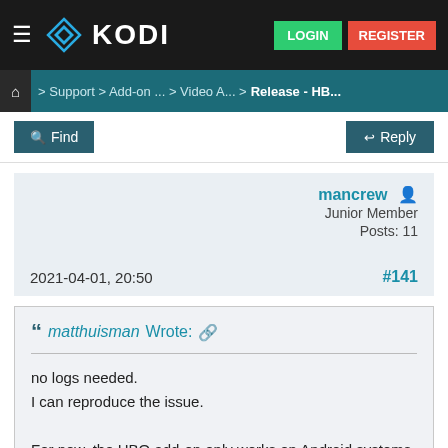KODI — LOGIN REGISTER
Home > Support > Add-on ... > Video A... > Release - HB...
Find   Reply
mancrew
Junior Member
Posts: 11
2021-04-01, 20:50
#141
matthuisman Wrote:
no logs needed.
I can reproduce the issue.

For now, the HBO add-on only works on Android systems.
Some other places and this is with simple di...